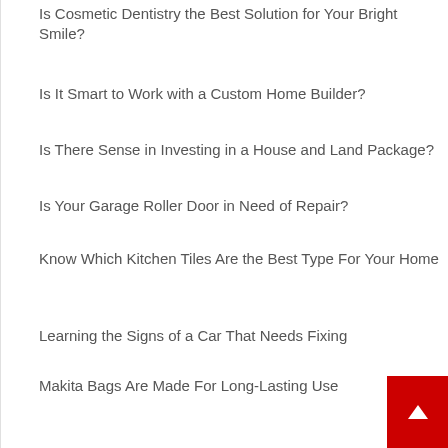Is Cosmetic Dentistry the Best Solution for Your Bright Smile?
Is It Smart to Work with a Custom Home Builder?
Is There Sense in Investing in a House and Land Package?
Is Your Garage Roller Door in Need of Repair?
Know Which Kitchen Tiles Are the Best Type For Your Home
Learning the Signs of a Car That Needs Fixing
Makita Bags Are Made For Long-Lasting Use
Maximising the Potential of SEO
Melbourne Palm Tree Pruning
Net Wrap or Twine? What's Better on Round Bales
Nu-LookRenovations Kitchen Renovations Canberra – to Make Your Kitchen More Efficient and Increase the Value of Your Home